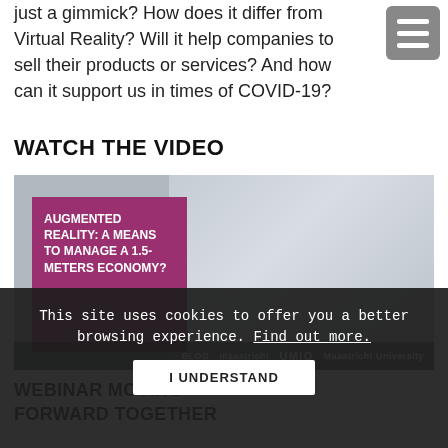just a gimmick? How does it differ from Virtual Reality? Will it help companies to sell their products or services? And how can it support us in times of COVID-19?
WATCH THE VIDEO
[Figure (photo): Video thumbnail showing a man in a blue suit smiling, with a purple box overlay titled 'AUGMENTED REALITY: A MEANS TO MANAGE A 1.5-METERS ECONOMY?' and institutional logos at the bottom including UMIO.]
This site uses cookies to offer you a better browsing experience. Find out more.
I UNDERSTAND
WEBINAR MOVING FORWARD TOGETHER